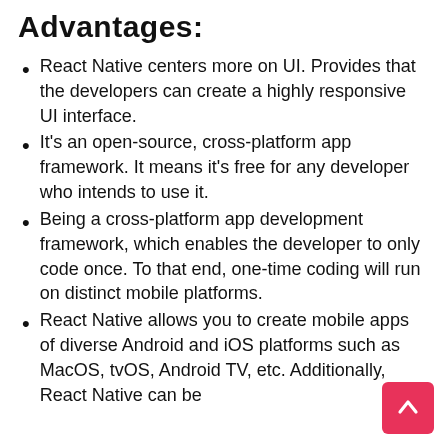Advantages:
React Native centers more on UI. Provides that the developers can create a highly responsive UI interface.
It's an open-source, cross-platform app framework. It means it's free for any developer who intends to use it.
Being a cross-platform app development framework, which enables the developer to only code once. To that end, one-time coding will run on distinct mobile platforms.
React Native allows you to create mobile apps of diverse Android and iOS platforms such as MacOS, tvOS, Android TV, etc. Additionally, React Native can be